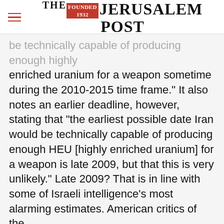THE JERUSALEM POST
be technically capable of producing enough highly enriched uranium for a weapon sometime during the 2010-2015 time frame." It also notes an earlier deadline, however, stating that "the earliest possible date Iran would be technically capable of producing enough HEU [highly enriched uranium] for a weapon is late 2009, but that this is very unlikely." Late 2009? That is in line with some of Israeli intelligence's most alarming estimates. American critics of the
Advertisement